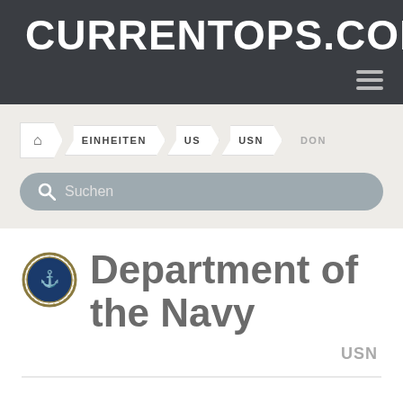CURRENTOPS.COM
EINHEITEN > US > USN > DON
Suchen
Department of the Navy
USN